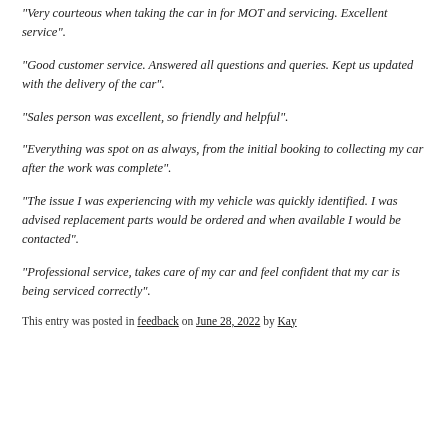“Very courteous when taking the car in for MOT and servicing. Excellent service”.
“Good customer service.  Answered all questions and queries.  Kept us updated with the delivery of the car”.
“Sales person was excellent, so friendly and helpful”.
“Everything was spot on as always, from the initial booking to collecting my car after the work was complete”.
“The issue I was experiencing with my vehicle was quickly identified.  I was advised replacement parts would be ordered and when available I would be contacted”.
“Professional service, takes care of my car and feel confident that my car is being serviced correctly”.
This entry was posted in feedback on June 28, 2022 by Kay